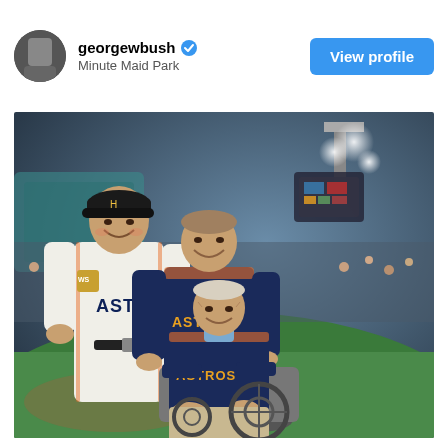georgewbush — Minute Maid Park — View profile
[Figure (photo): Three people on a baseball field at Minute Maid Park during the World Series. On the left, a tall man wearing a white Houston Astros jersey with a World Series patch and a black baseball cap is smiling broadly. In the center-back, an older man wearing a navy blue Houston Astros jacket is smiling. In front, an elderly man is seated in a wheelchair, also wearing a navy blue Houston Astros jacket with gold lettering. Stadium lights and crowd are visible in the background.]